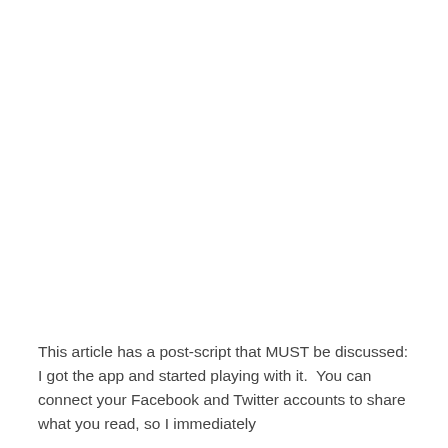This article has a post-script that MUST be discussed:  I got the app and started playing with it.  You can connect your Facebook and Twitter accounts to share what you read, so I immediately